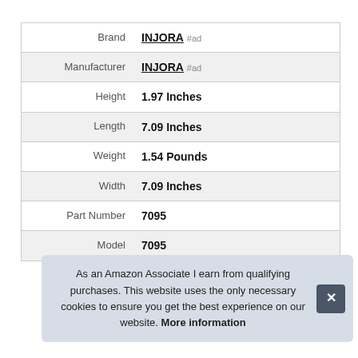| Attribute | Value |
| --- | --- |
| Brand | INJORA #ad |
| Manufacturer | INJORA #ad |
| Height | 1.97 Inches |
| Length | 7.09 Inches |
| Weight | 1.54 Pounds |
| Width | 7.09 Inches |
| Part Number | 7095 |
| Model | 7095 |
As an Amazon Associate I earn from qualifying purchases. This website uses the only necessary cookies to ensure you get the best experience on our website. More information